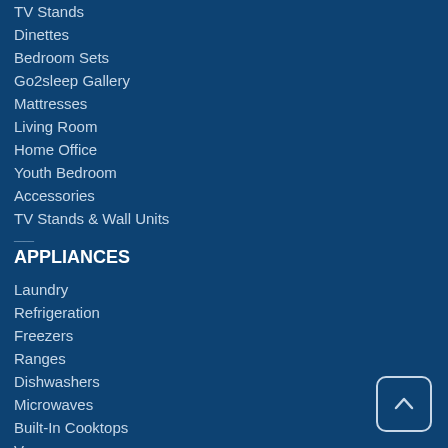TV Stands
Dinettes
Bedroom Sets
Go2sleep Gallery
Mattresses
Living Room
Home Office
Youth Bedroom
Accessories
TV Stands & Wall Units
APPLIANCES
Laundry
Refrigeration
Freezers
Ranges
Dishwashers
Microwaves
Built-In Cooktops
Vacuums
Countertop Appliances